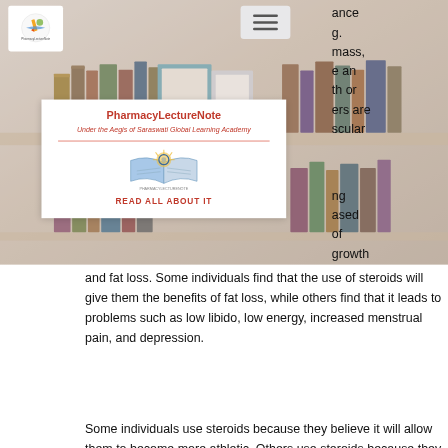[Figure (photo): Background photo of bookshelves with books and picture frames, faded/muted tones]
[Figure (logo): PharmacyLectureNote logo in top-left corner — circular logo with pencil/book icon]
[Figure (screenshot): Popup card overlay showing PharmacyLectureNote branding with subtitle 'Under the Aegis of Saraswati Global Learning Academy', a divider line, an open-book logo, and 'READ ALL ABOUT IT' text in red]
and fat loss. Some individuals find that the use of steroids will give them the benefits of fat loss, while others find that it leads to problems such as low libido, low energy, increased menstrual pain, and depression.
Some individuals use steroids because they believe it will allow them to become more athletic. Others use steroids because they